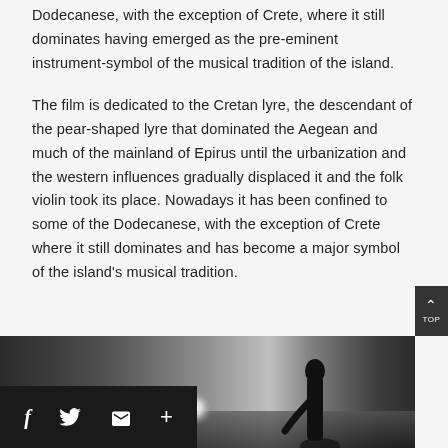Dodecanese, with the exception of Crete, where it still dominates having emerged as the pre-eminent instrument-symbol of the musical tradition of the island.
The film is dedicated to the Cretan lyre, the descendant of the pear-shaped lyre that dominated the Aegean and much of the mainland of Epirus until the urbanization and the western influences gradually displaced it and the folk violin took its place. Nowadays it has been confined to some of the Dodecanese, with the exception of Crete where it still dominates and has become a major symbol of the island's musical tradition.
[Figure (photo): Dark cinematic photo showing a silhouette of a person against a twilight sky with a glowing light orb in the background.]